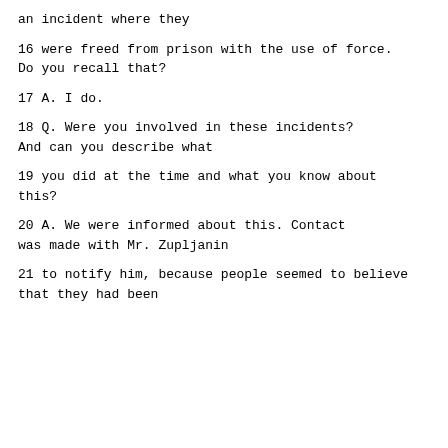an incident where they
16      were freed from prison with the use of force. Do you recall that?
17          A.   I do.
18          Q.   Were you involved in these incidents? And can you describe what
19      you did at the time and what you know about this?
20          A.   We were informed about this.  Contact was made with Mr. Zupljanin
21      to notify him, because people seemed to believe that they had been